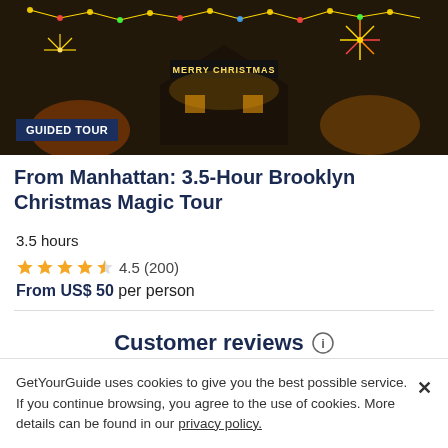[Figure (photo): Night photo of a house decorated with Christmas lights, including a 'Merry Christmas' sign, colorful light displays, and festive decorations.]
GUIDED TOUR
From Manhattan: 3.5-Hour Brooklyn Christmas Magic Tour
3.5 hours
4.5 (200)
From US$ 50 per person
Customer reviews
4.5/5
GetYourGuide uses cookies to give you the best possible service. If you continue browsing, you agree to the use of cookies. More details can be found in our privacy policy.